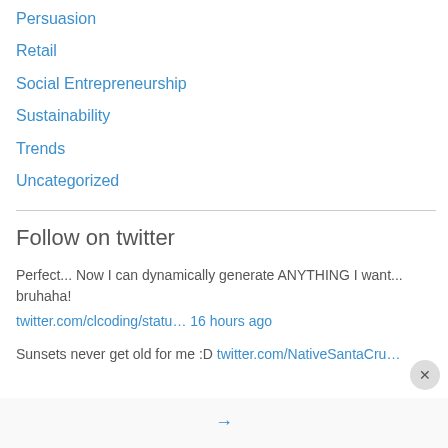Persuasion
Retail
Social Entrepreneurship
Sustainability
Trends
Uncategorized
Follow on twitter
Perfect... Now I can dynamically generate ANYTHING I want... bruhaha!
twitter.com/clcoding/statu… 16 hours ago
Sunsets never get old for me :D twitter.com/NativeSantaCru…
Privacy & Cookies: This site uses cookies. By continuing to use this website, you agree to their use.
To find out more, including how to control cookies, see here: Cookie Policy